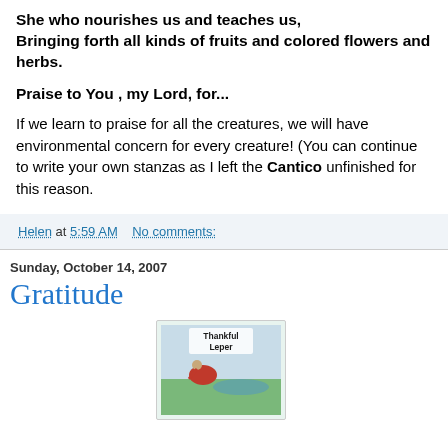She who nourishes us and teaches us,
Bringing forth all kinds of fruits and colored flowers and herbs.
Praise to You , my Lord, for...
If we learn to praise for all the creatures, we will have environmental concern for every creature! (You can continue to write your own stanzas as I left the Cantico unfinished for this reason.
Helen at 5:59 AM    No comments:
Sunday, October 14, 2007
Gratitude
[Figure (illustration): Book cover showing 'Thankful Leper' with an illustration of a person bowing/kneeling near water with a green landscape background]